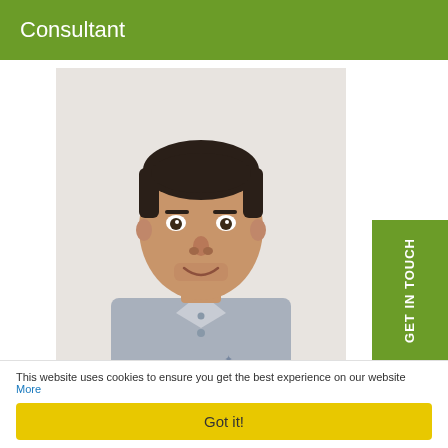Consultant
[Figure (photo): Professional headshot of a young man with short dark hair wearing a grey button-up shirt, posed against a light background.]
GET IN TOUCH
This website uses cookies to ensure you get the best experience on our website More
Got it!